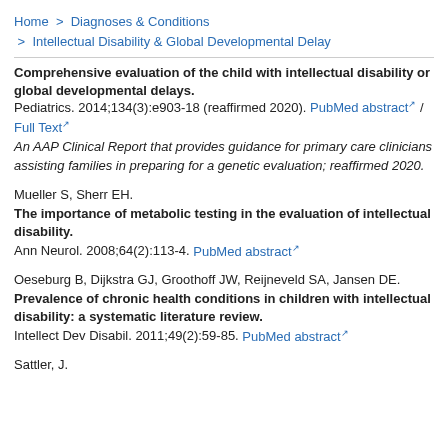Home > Diagnoses & Conditions > Intellectual Disability & Global Developmental Delay
Comprehensive evaluation of the child with intellectual disability or global developmental delays. Pediatrics. 2014;134(3):e903-18 (reaffirmed 2020). PubMed abstract / Full Text
An AAP Clinical Report that provides guidance for primary care clinicians assisting families in preparing for a genetic evaluation; reaffirmed 2020.
Mueller S, Sherr EH.
The importance of metabolic testing in the evaluation of intellectual disability. Ann Neurol. 2008;64(2):113-4. PubMed abstract
Oeseburg B, Dijkstra GJ, Groothoff JW, Reijneveld SA, Jansen DE.
Prevalence of chronic health conditions in children with intellectual disability: a systematic literature review. Intellect Dev Disabil. 2011;49(2):59-85. PubMed abstract
Sattler, J.